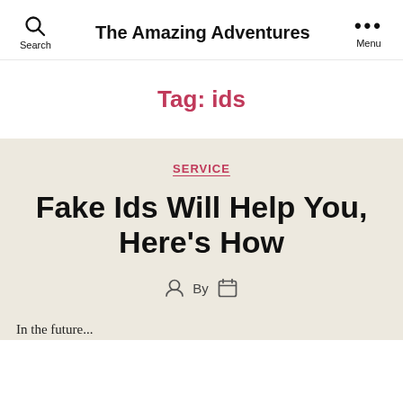The Amazing Adventures
Tag: ids
SERVICE
Fake Ids Will Help You, Here's How
By
In the future...